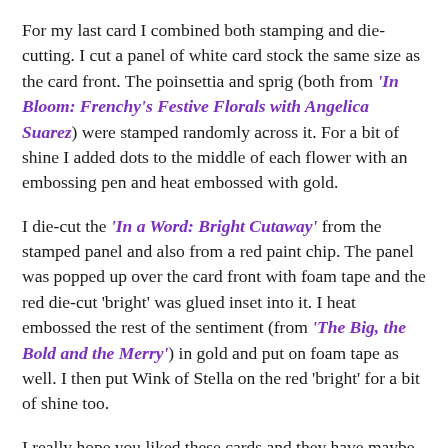For my last card I combined both stamping and die-cutting. I cut a panel of white card stock the same size as the card front. The poinsettia and sprig (both from 'In Bloom: Frenchy's Festive Florals with Angelica Suarez) were stamped randomly across it. For a bit of shine I added dots to the middle of each flower with an embossing pen and heat embossed with gold.
I die-cut the 'In a Word: Bright Cutaway' from the stamped panel and also from a red paint chip. The panel was popped up over the card front with foam tape and the red die-cut 'bright' was glued inset into it. I heat embossed the rest of the sentiment (from 'The Big, the Bold and the Merry') in gold and put on foam tape as well. I then put Wink of Stella on the red 'bright' for a bit of shine too.
I really hope you liked these cards and they have maybe given you a few ideas for your Christmas cards or any other cards you need to create.
Don't forget to pop over to my blog to leave me a comment